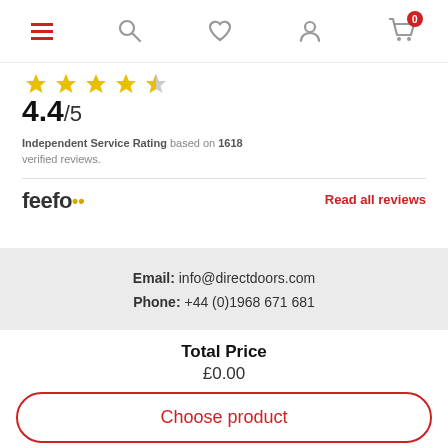Navigation bar with hamburger menu, search, wishlist, account and cart icons
4.4/5
Independent Service Rating based on 1618 verified reviews.
[Figure (logo): Feefo logo with yellow quotation marks]
Read all reviews
Email: info@directdoors.com
Phone: +44 (0)1968 671 681
Total Price
£0.00
Choose product